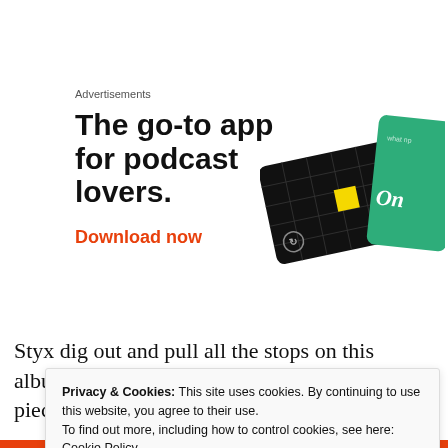Advertisements
[Figure (illustration): Advertisement for a podcast app. Shows bold black text 'The go-to app for podcast lovers.' with an orange 'Download now' link, and an image of two overlapping cards (black with grid and yellow square, green with cursive text).]
Styx dig out and pull all the stops on this album. It's unbelievable how good this concept piece is. Styx as I had
Privacy & Cookies: This site uses cookies. By continuing to use this website, you agree to their use.
To find out more, including how to control cookies, see here: Cookie Policy
Close and accept